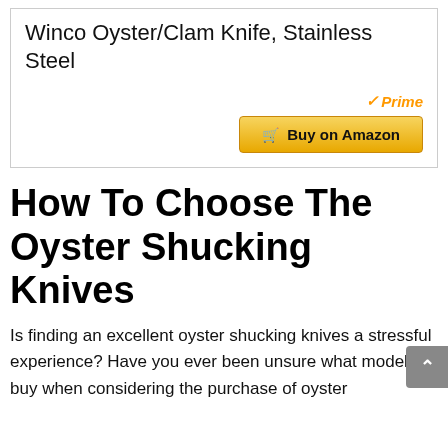Winco Oyster/Clam Knife, Stainless Steel
[Figure (other): Amazon Prime badge with checkmark and 'Prime' text in gold italic, and a gold 'Buy on Amazon' button with shopping cart icon]
How To Choose The Oyster Shucking Knives
Is finding an excellent oyster shucking knives a stressful experience? Have you ever been unsure what model to buy when considering the purchase of oyster